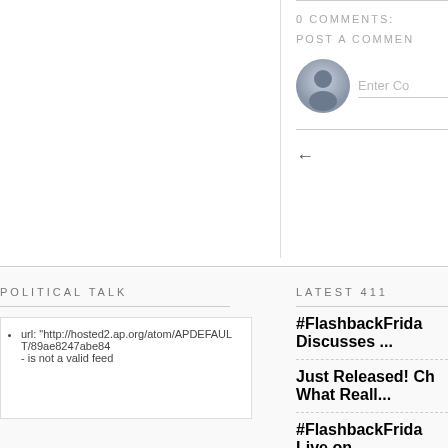0 COMMENTS:
POST A COMMENT
[Figure (illustration): User avatar icon circle with silhouette, grey tones]
Enter Co...
←
POLITICAL TALK
LATEST 411
url: "http://hosted2.ap.org/atom/APDEFAULT/89ae8247abe84 - is not a valid feed
#FlashbackFrida Discusses ...
Just Released! Ch What Reall...
#FlashbackFrida Live on...